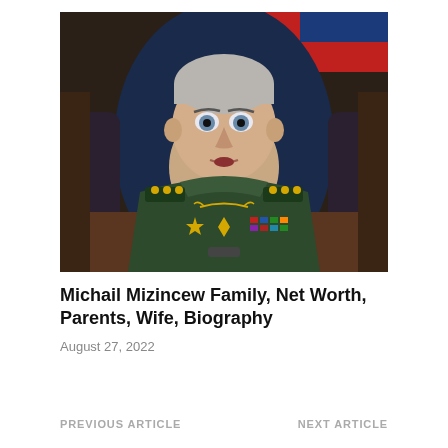[Figure (photo): Michail Mizincew, a Russian military officer in green uniform with gold stars and medals on epaulets, seated in a blue leather chair, with a red and blue flag in background. He has short grey hair and is looking forward with mouth slightly open.]
Michail Mizincew Family, Net Worth, Parents, Wife, Biography
August 27, 2022
PREVIOUS ARTICLE    NEXT ARTICLE